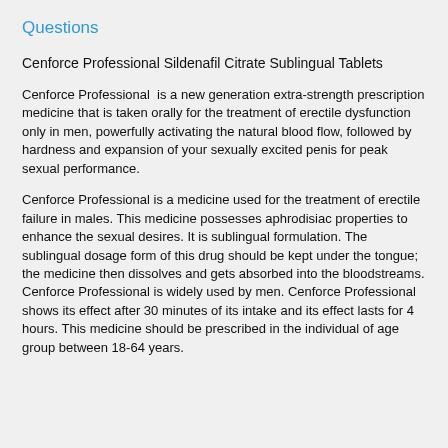Questions
Cenforce Professional Sildenafil Citrate Sublingual Tablets
Cenforce Professional  is a new generation extra-strength prescription medicine that is taken orally for the treatment of erectile dysfunction only in men, powerfully activating the natural blood flow, followed by hardness and expansion of your sexually excited penis for peak sexual performance.
Cenforce Professional is a medicine used for the treatment of erectile failure in males. This medicine possesses aphrodisiac properties to enhance the sexual desires. It is sublingual formulation. The sublingual dosage form of this drug should be kept under the tongue; the medicine then dissolves and gets absorbed into the bloodstreams. Cenforce Professional is widely used by men. Cenforce Professional shows its effect after 30 minutes of its intake and its effect lasts for 4 hours. This medicine should be prescribed in the individual of age group between 18-64 years.